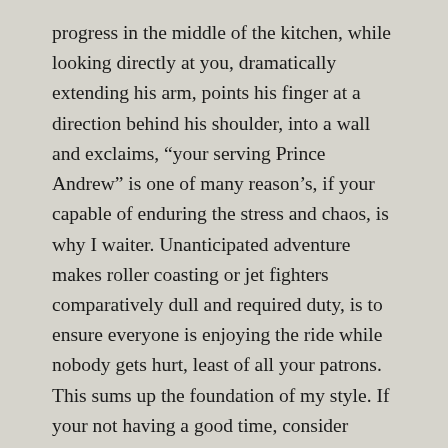progress in the middle of the kitchen, while looking directly at you, dramatically extending his arm, points his finger at a direction behind his shoulder, into a wall and exclaims, “your serving Prince Andrew” is one of many reason’s, if your capable of enduring the stress and chaos, is why I waiter. Unanticipated adventure makes roller coasting or jet fighters comparatively dull and required duty, is to ensure everyone is enjoying the ride while nobody gets hurt, least of all your patrons. This sums up the foundation of my style. If your not having a good time, consider yourself dead, or taken by aliens. If you have issues and you can’t live with them, then I’m not your breed of servant. Procedure tended to example three possibilities. I could have been summoned by landline on previous evenings, requested to work, otherwise I’m already there, alert to knowing. Depending on the size of business but most likely a manager or subordinate, instructed by owner, if not owner for emphasis, regardless of which, in almost all cases, {99.2%} I will say, “When do you want me there?”  I cancel everything of marginal importance and reschedule my private life, short of surgery or compelling party. The second likelihood is an extended period of notification, in duration of most likely a week, but a